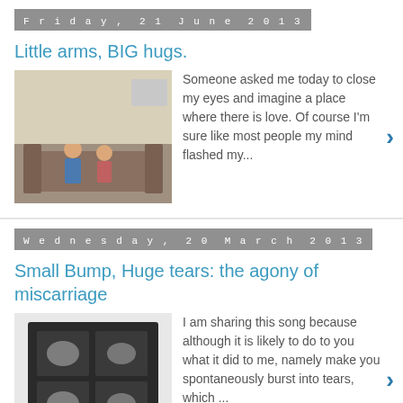Friday, 21 June 2013
Little arms, BIG hugs.
[Figure (photo): Two children sitting together on a couch/sofa]
Someone asked me today to close my eyes and imagine a place where there is love. Of course I'm sure like most people my mind flashed my...
Wednesday, 20 March 2013
Small Bump, Huge tears: the agony of miscarriage
[Figure (photo): Ultrasound scan images in a dark frame/book]
I am sharing this song because although it is likely to do to you what it did to me, namely make you spontaneously burst into tears, which ...
Tuesday, 9 August 2011
Pregnant with number two?
Losing their cot to a new baby may be the least of